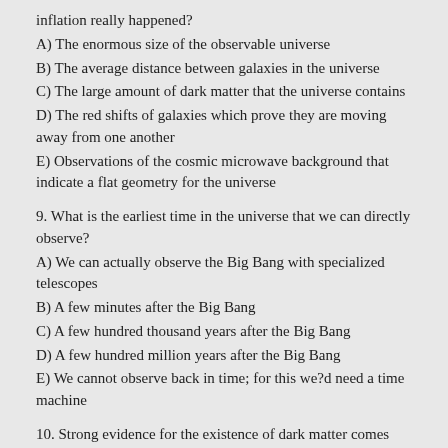inflation really happened?
A) The enormous size of the observable universe
B) The average distance between galaxies in the universe
C) The large amount of dark matter that the universe contains
D) The red shifts of galaxies which prove they are moving away from one another
E) Observations of the cosmic microwave background that indicate a flat geometry for the universe
9. What is the earliest time in the universe that we can directly observe?
A) We can actually observe the Big Bang with specialized telescopes
B) A few minutes after the Big Bang
C) A few hundred thousand years after the Big Bang
D) A few hundred million years after the Big Bang
E) We cannot observe back in time; for this we?d need a time machine
10. Strong evidence for the existence of dark matter comes from observations of:
A) Frequent turbulence in Earth?s atmosphere